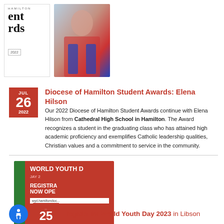[Figure (photo): Diocese of Hamilton Student Awards logo/branding with text 'ent', 'rds', HAMILTON label and year box, alongside a photo of Elena Hilson in red and blue outfit]
Diocese of Hamilton Student Awards: Elena Hilson
Our 2022 Diocese of Hamilton Student Awards continue with Elena Hilson from Cathedral High School in Hamilton. The Award recognizes a student in the graduating class who has attained high academic proficiency and exemplifies Catholic leadership qualities, Christian values and a commitment to service in the community.
[Figure (photo): World Youth Day registration poster with red background, green stripe, text 'WORLD YOUTH D', 'REGISTRA NOW OPE', URL text, and Diocese of Hamilton logo]
Register for World Youth Day 2023 in Libson